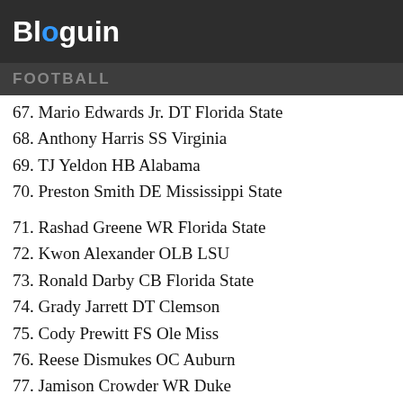Bloguin
FOOTBALL
67. Mario Edwards Jr. DT Florida State
68. Anthony Harris SS Virginia
69. TJ Yeldon HB Alabama
70. Preston Smith DE Mississippi State
71. Rashad Greene WR Florida State
72. Kwon Alexander OLB LSU
73. Ronald Darby CB Florida State
74. Grady Jarrett DT Clemson
75. Cody Prewitt FS Ole Miss
76. Reese Dismukes OC Auburn
77. Jamison Crowder WR Duke
78. Justin Hardy WR East Carolina
79. Alex Carter CB Stanford
80. Josh Harper WR Fresno State
81. Ty Montgomery WR Stanford